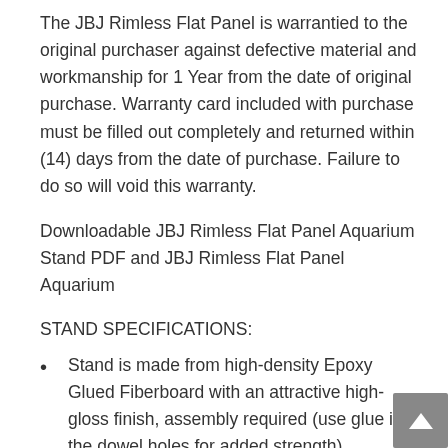The JBJ Rimless Flat Panel is warrantied to the original purchaser against defective material and workmanship for 1 Year from the date of original purchase. Warranty card included with purchase must be filled out completely and returned within (14) days from the date of purchase. Failure to do so will void this warranty.
Downloadable JBJ Rimless Flat Panel Aquarium Stand PDF and JBJ Rimless Flat Panel Aquarium
STAND SPECIFICATIONS:
Stand is made from high-density Epoxy Glued Fiberboard with an attractive high-gloss finish, assembly required (use glue in the dowel holes for added strength).
Stand is specifically designed for use with JBJ AIO 20 Gallon Tank
Some assembly required